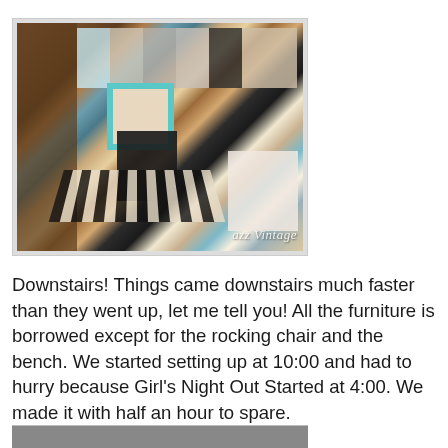[Figure (photo): Interior of a vintage/antique shop (Jazz Vintage) showing shelves with collectibles on the left, a black center table, zebra-print rug on the floor, wall art and framed pictures in background, a white rocking chair on the right with colorful quilts, and various decorative items throughout. Watermark text 'azz Vintage' visible in bottom right corner.]
Downstairs! Things came downstairs much faster than they went up, let me tell you! All the furniture is borrowed except for the rocking chair and the bench. We started setting up at 10:00 and had to hurry because Girl's Night Out Started at 4:00. We made it with half an hour to spare.
[Figure (photo): Partial view of another photo at the bottom of the page, mostly cropped.]